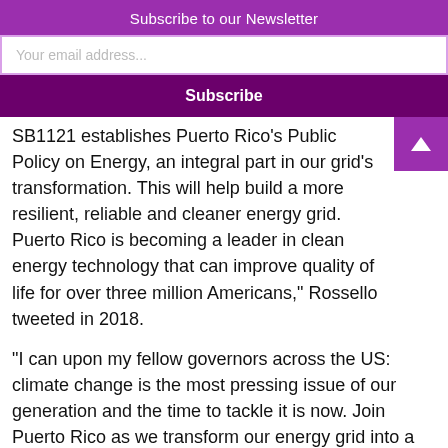Subscribe to our Newsletter
Your email address...
Subscribe
SB1121 establishes Puerto Rico's Public Policy on Energy, an integral part in our grid's transformation. This will help build a more resilient, reliable and cleaner energy grid. Puerto Rico is becoming a leader in clean energy technology that can improve quality of life for over three million Americans," Rossello tweeted in 2018.
“I can upon my fellow governors across the US: climate change is the most pressing issue of our generation and the time to tackle it is now. Join Puerto Rico as we transform our energy grid into a modern, efficient and clean model for the whole of the United States,” he added.